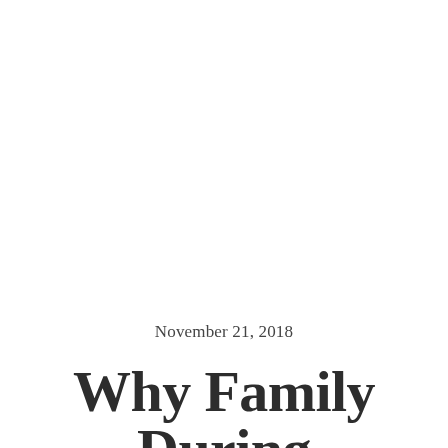November 21, 2018
Why Family During The Holidays Is...